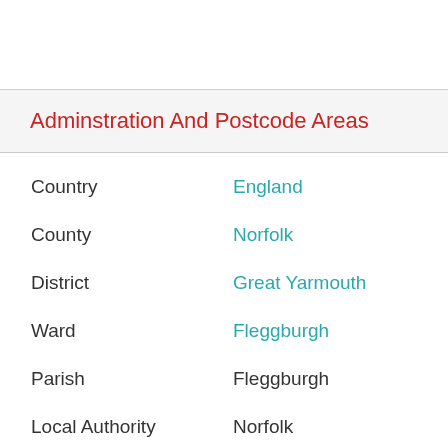Adminstration And Postcode Areas
| Field | Value |
| --- | --- |
| Country | England |
| County | Norfolk |
| District | Great Yarmouth |
| Ward | Fleggburgh |
| Parish | Fleggburgh |
| Local Authority | Norfolk |